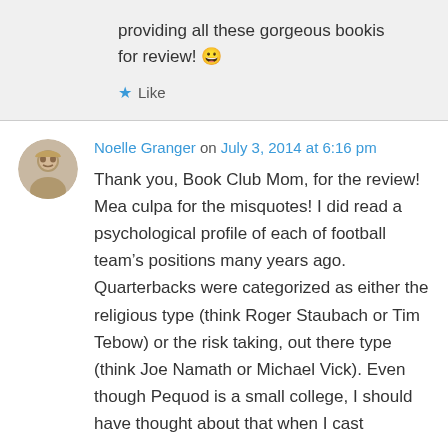providing all these gorgeous bookis for review! 😀
Like
Noelle Granger on July 3, 2014 at 6:16 pm
Thank you, Book Club Mom, for the review! Mea culpa for the misquotes! I did read a psychological profile of each of football team's positions many years ago. Quarterbacks were categorized as either the religious type (think Roger Staubach or Tim Tebow) or the risk taking, out there type (think Joe Namath or Michael Vick). Even though Pequod is a small college, I should have thought about that when I cast